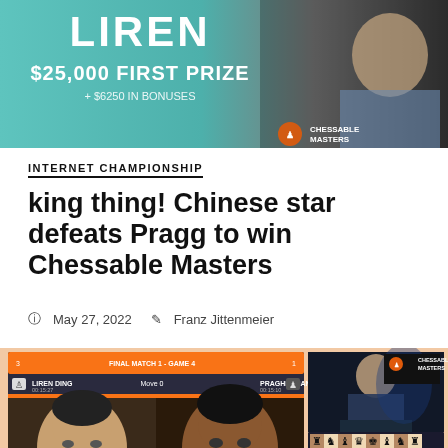[Figure (photo): Banner advertisement for Chessable Masters featuring player Ding Liren, $25,000 first prize and flag icons for UK, Germany, Russia]
INTERNET CHAMPIONSHIP
king thing! Chinese star defeats Pragg to win Chessable Masters
May 27, 2022   Franz Jittenmeier
[Figure (screenshot): Chess.com broadcast screenshot showing Ding Liren vs Pragananandhaa R in Final Match 1, Game 4 with chess board and player webcam feeds]